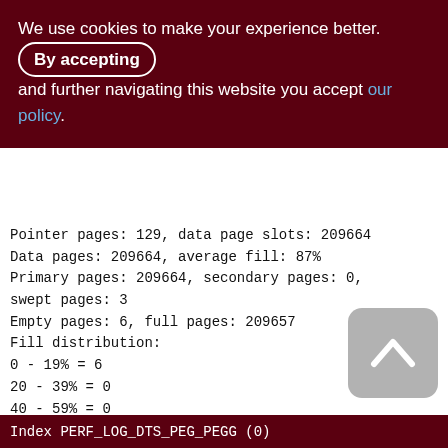We use cookies to make your experience better. By accepting and further navigating this website you accept our policy.
Pointer pages: 129, data page slots: 209664
Data pages: 209664, average fill: 87%
Primary pages: 209664, secondary pages: 0, swept pages: 3
Empty pages: 6, full pages: 209657
Fill distribution:
0 - 19% = 6
20 - 39% = 0
40 - 59% = 0
60 - 79% = 0
80 - 99% = 209658
Index PERF_LOG_DTS_PEG_PEGG (0)